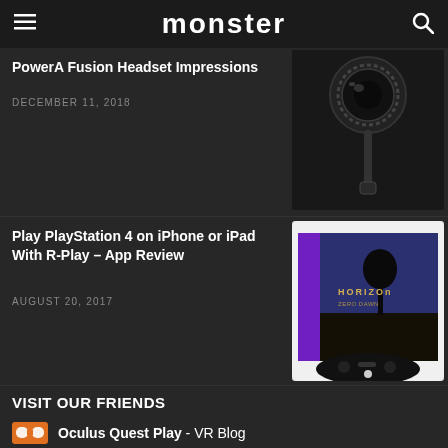monster
PowerA Fusion Headset Impressions
DECEMBER 11, 2018
[Figure (photo): Close-up photo of black gaming headset hardware, dark background]
Play PlayStation 4 on iPhone or iPad With R-Play – App Review
AUGUST 20, 2017
[Figure (screenshot): Screenshot showing Horizon Zero Dawn game on iPad with PS4 controller visible]
VISIT OUR FRIENDS
Oculus Quest Play - VR Blog